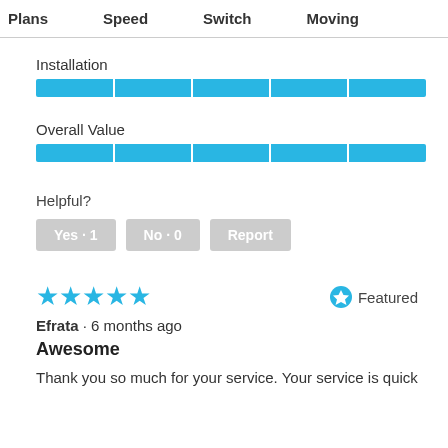Plans  Speed  Switch  Moving
Installation
[Figure (infographic): Full blue progress/rating bar for Installation, spanning full width with 4 white dividers creating 5 equal segments]
Overall Value
[Figure (infographic): Full blue progress/rating bar for Overall Value, spanning full width with 4 white dividers creating 5 equal segments]
Helpful?
Yes · 1
No · 0
Report
[Figure (infographic): 5 filled blue stars rating]
Featured
Efrata · 6 months ago
Awesome
Thank you so much for your service. Your service is quick